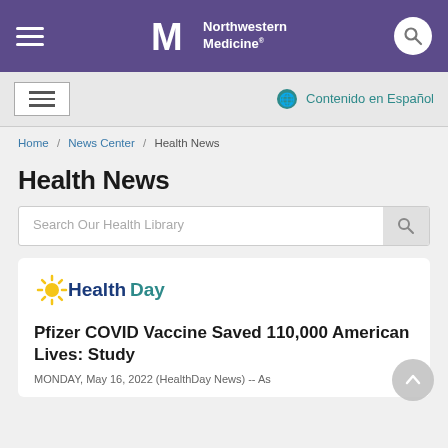Northwestern Medicine
≡  Contenido en Español
Home / News Center / Health News
Health News
Search Our Health Library
[Figure (logo): HealthDay logo with sunburst graphic]
Pfizer COVID Vaccine Saved 110,000 American Lives: Study
MONDAY, May 16, 2022 (HealthDay News) -- As